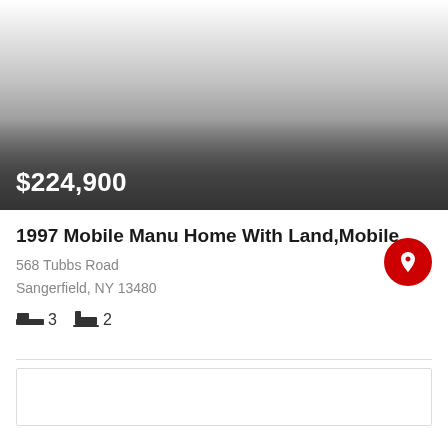[Figure (photo): Property listing photo area with gradient overlay showing price $224,900]
1997 Mobile Manu Home With Land,Mobile...
568 Tubbs Road
Sangerfield, NY 13480
3 beds  2 baths